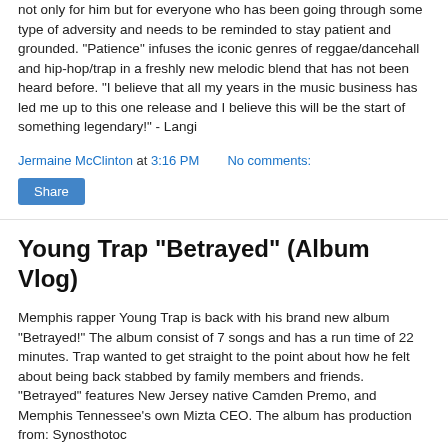not only for him but for everyone who has been going through some type of adversity and needs to be reminded to stay patient and grounded. "Patience" infuses the iconic genres of reggae/dancehall and hip-hop/trap in a freshly new melodic blend that has not been heard before. "I believe that all my years in the music business has led me up to this one release and I believe this will be the start of something legendary!" - Langi
Jermaine McClinton at 3:16 PM    No comments:
Share
Young Trap "Betrayed" (Album Vlog)
Memphis rapper Young Trap is back with his brand new album "Betrayed!" The album consist of 7 songs and has a run time of 22 minutes. Trap wanted to get straight to the point about how he felt about being back stabbed by family members and friends. "Betrayed" features New Jersey native Camden Premo, and Memphis Tennessee's own Mizta CEO. The album has production from: Synosthotoc